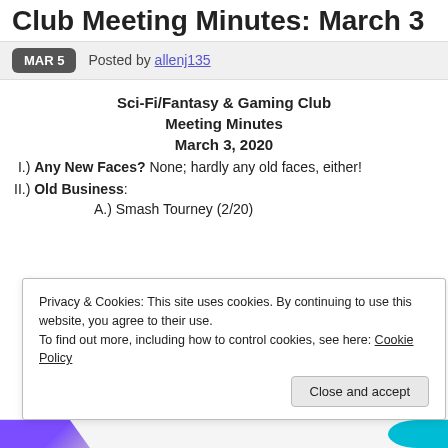Club Meeting Minutes: March 3
MAR 5  Posted by allenj135
Sci-Fi/Fantasy & Gaming Club
Meeting Minutes
March 3, 2020
I.) Any New Faces? None; hardly any old faces, either!
II.) Old Business:
A.) Smash Tourney (2/20)
Privacy & Cookies: This site uses cookies. By continuing to use this website, you agree to their use.
To find out more, including how to control cookies, see here: Cookie Policy
Close and accept